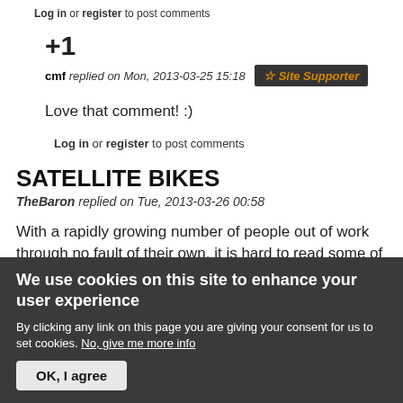Log in or register to post comments
+1
cmf replied on Mon, 2013-03-25 15:18  ☆ Site Supporter
Love that comment! :)
Log in or register to post comments
SATELLITE BIKES
TheBaron replied on Tue, 2013-03-26 00:58
With a rapidly growing number of people out of work through no fault of their own, it is hard to read some of
We use cookies on this site to enhance your user experience
By clicking any link on this page you are giving your consent for us to set cookies. No, give me more info
OK, I agree